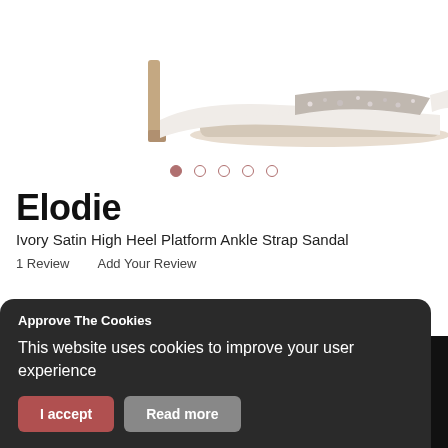[Figure (photo): Product photo of Elodie ivory satin high heel platform ankle strap sandal with crystal embellishment, shown from the side on a white background]
Elodie
Ivory Satin High Heel Platform Ankle Strap Sandal
1 Review    Add Your Review
£109.00    IN STOCK
Approve The Cookies
This website uses cookies to improve your user experience
I accept    Read more